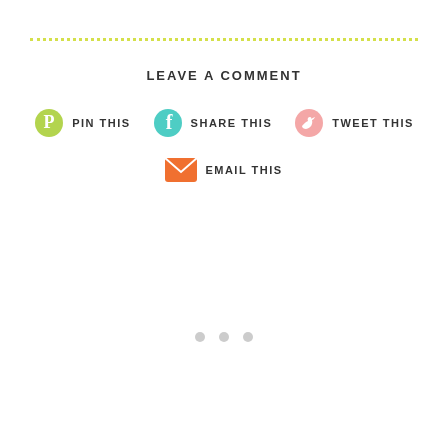[Figure (infographic): Dotted yellow-green horizontal line separator]
LEAVE A COMMENT
[Figure (infographic): Social sharing buttons row: Pinterest PIN THIS, Facebook SHARE THIS, Twitter TWEET THIS]
[Figure (infographic): Email sharing button: EMAIL THIS]
[Figure (infographic): Three small gray dots decorative element]